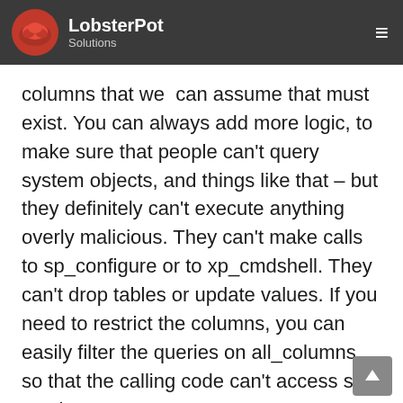LobsterPot Solutions
we know actually exist. The only columns that we can assume that must exist. You can always add more logic, to make sure that people can't query system objects, and things like that – but they definitely can't execute anything overly malicious. They can't make calls to sp_configure or to xp_cmdshell. They can't drop tables or update values. If you need to restrict the columns, you can easily filter the queries on all_columns, so that the calling code can't access so much.
SQL Injection is serious. It's a huge problem for people who deal with databases – and not just SQL Server, but all databases. The solution is easy, but requires some level of discipline.